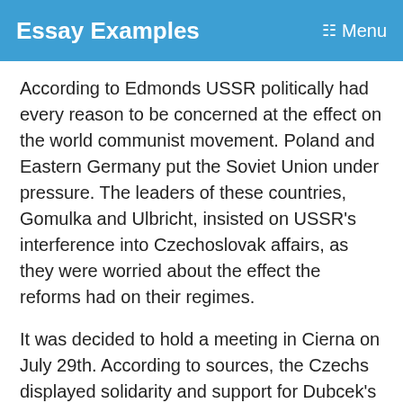Essay Examples   Menu
According to Edmonds USSR politically had every reason to be concerned at the effect on the world communist movement. Poland and Eastern Germany put the Soviet Union under pressure. The leaders of these countries, Gomulka and Ulbricht, insisted on USSR's interference into Czechoslovak affairs, as they were worried about the effect the reforms had on their regimes.
It was decided to hold a meeting in Cierna on July 29th. According to sources, the Czechs displayed solidarity and support for Dubcek's regime. Moscow's calculation that the Czech leadership will